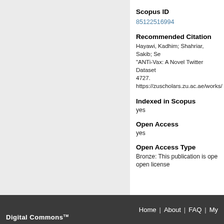Scopus ID
85122516994
Recommended Citation
Hayawi, Kadhim; Shahriar, Sakib; Se... "ANTi-Vax: A Novel Twitter Dataset... 4727.
https://zuscholars.zu.ac.ae/works/...
Indexed in Scopus
yes
Open Access
yes
Open Access Type
Bronze: This publication is ope... open license
Digital Commons™   Home | About | FAQ | My...